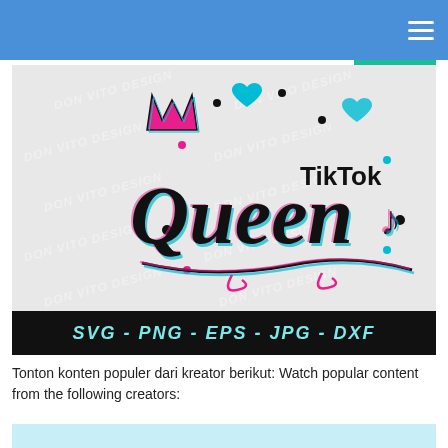[Figure (illustration): TikTok Queen SVG design graphic with decorative script lettering, crown, hearts, TikTok logo note, and watermark text 'DON VITO DESIGN'. Black bar at bottom shows file formats: SVG - PNG - EPS - JPG - DXF in teal italic text.]
Tonton konten populer dari kreator berikut: Watch popular content from the following creators:
[Figure (other): Light blue/teal partial image at the bottom of the page.]